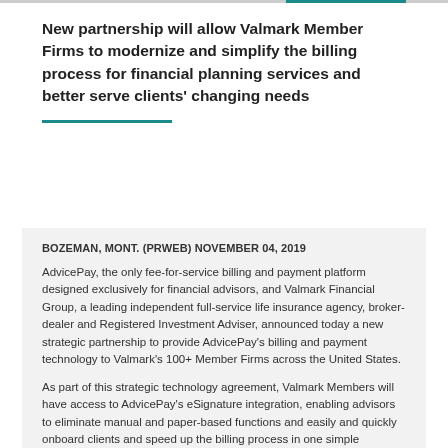New partnership will allow Valmark Member Firms to modernize and simplify the billing process for financial planning services and better serve clients' changing needs
BOZEMAN, MONT. (PRWEB) NOVEMBER 04, 2019
AdvicePay, the only fee-for-service billing and payment platform designed exclusively for financial advisors, and Valmark Financial Group, a leading independent full-service life insurance agency, broker-dealer and Registered Investment Adviser, announced today a new strategic partnership to provide AdvicePay's billing and payment technology to Valmark's 100+ Member Firms across the United States.
As part of this strategic technology agreement, Valmark Members will have access to AdvicePay's eSignature integration, enabling advisors to eliminate manual and paper-based functions and easily and quickly onboard clients and speed up the billing process in one simple workflow. Additionally, Valmark Members will have exclusive access to AdvicePay's practice management consultant, who's experience extends to all aspects of the fee-for-service financial planning business model for helping firms better manage their